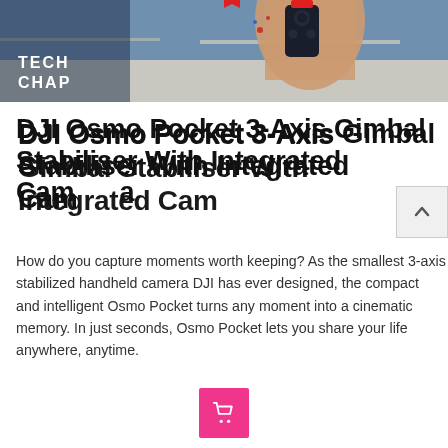[Figure (photo): Photo of a hand holding a small DJI Osmo Pocket camera device against an outdoor background, with 'TECH CHAP' logo overlay in white text on the left]
DJI Osmo Pocket 3-Axis Gimbal Stabiliser With Integrated Camera
How do you capture moments worth keeping? As the smallest 3-axis stabilized handheld camera DJI has ever designed, the compact and intelligent Osmo Pocket turns any moment into a cinematic memory. In just seconds, Osmo Pocket lets you share your life anywhere, anytime.
[Figure (illustration): Pink/magenta shopping cart button icon]